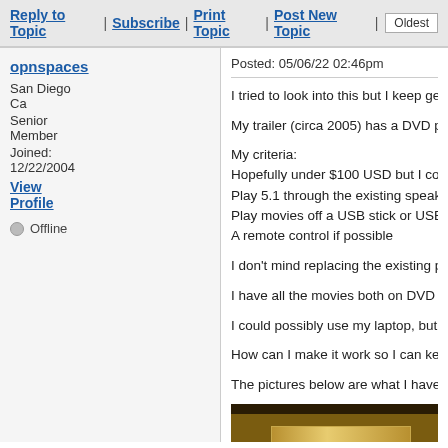Reply to Topic | Subscribe | Print Topic | Post New Topic | Oldest
opnspaces
San Diego Ca
Senior Member
Joined: 12/22/2004
View Profile
Offline
Posted: 05/06/22 02:46pm
I tried to look into this but I keep getting stuck in rabbit holes
My trailer (circa 2005) has a DVD player that plays out to the
My criteria:
Hopefully under $100 USD but I could go higher
Play 5.1 through the existing speakers
Play movies off a USB stick or USB drive/small computer
A remote control if possible
I don't mind replacing the existing player as long as I can so
I have all the movies both on DVD and also on a drive in diff
I could possibly use my laptop, but it only has VGA and hea
How can I make it work so I can keep my 5.1 speakers and
The pictures below are what I have today. I can re-purpose t
[Figure (photo): Photo showing wooden entertainment center with gold/metallic panel, partially visible]